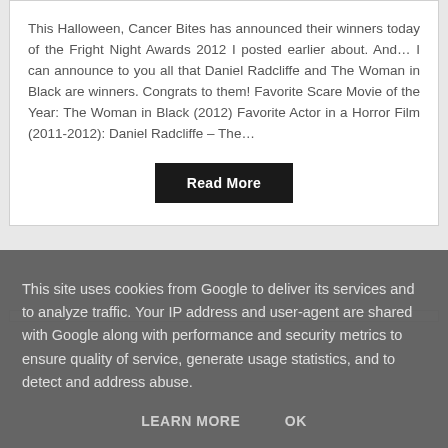This Halloween, Cancer Bites has announced their winners today of the Fright Night Awards 2012 I posted earlier about. And… I can announce to you all that Daniel Radcliffe and The Woman in Black are winners. Congrats to them! Favorite Scare Movie of the Year: The Woman in Black (2012) Favorite Actor in a Horror Film (2011-2012): Daniel Radcliffe – The…
Read More
This site uses cookies from Google to deliver its services and to analyze traffic. Your IP address and user-agent are shared with Google along with performance and security metrics to ensure quality of service, generate usage statistics, and to detect and address abuse.
LEARN MORE   OK